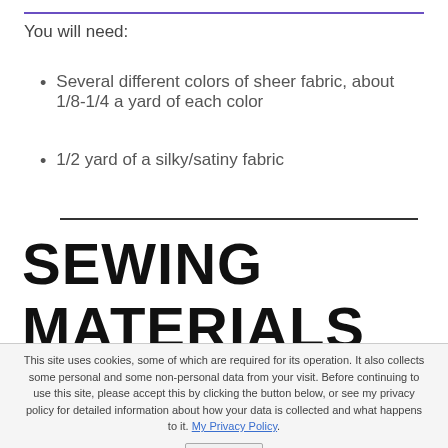You will need:
Several different colors of sheer fabric, about 1/8-1/4 a yard of each color
1/2 yard of a silky/satiny fabric
SEWING MATERIALS AVAILABLE
This site uses cookies, some of which are required for its operation. It also collects some personal and some non-personal data from your visit. Before continuing to use this site, please accept this by clicking the button below, or see my privacy policy for detailed information about how your data is collected and what happens to it. My Privacy Policy.
Accept